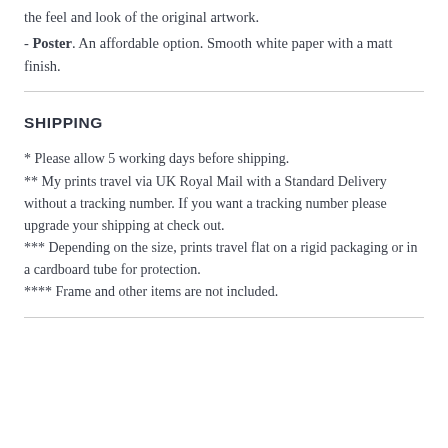the feel and look of the original artwork.
- Poster. An affordable option. Smooth white paper with a matt finish.
SHIPPING
* Please allow 5 working days before shipping.
** My prints travel via UK Royal Mail with a Standard Delivery without a tracking number. If you want a tracking number please upgrade your shipping at check out.
*** Depending on the size, prints travel flat on a rigid packaging or in a cardboard tube for protection.
**** Frame and other items are not included.